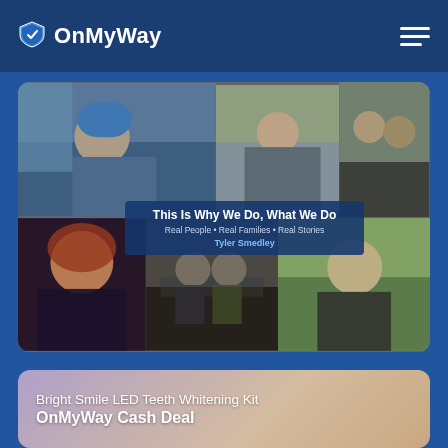OnMyWay
[Figure (photo): Photo collage showing multiple people - young man with blue beanie outdoors, woman in restaurant kitchen, two men in black shirts, young red-haired child, two children at an event booth, young man outdoors in a field. Overlay text reads: 'This Is Why We Do, What We Do / Real People • Real Families • Real Stories / Tyler Smedley']
This Is Why We Do, What We Do
Real People • Real Families • Real Stories
Tyler Smedley
[Figure (photo): Promotional card for Bright Smile LED Teeth Whitening Kit with blurred background of teeth/smile and purple-golden gradient]
Bright Smile LED Teeth Whitening Kit
OnMyWay Cash Deal